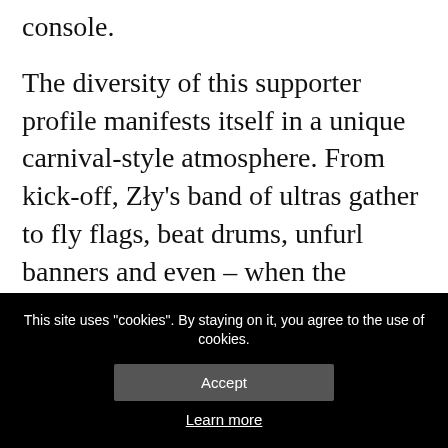console.
The diversity of this supporter profile manifests itself in a unique carnival-style atmosphere. From kick-off, Zły's band of ultras gather to fly flags, beat drums, unfurl banners and even – when the occasion demands – let off the odd cheeky flare. Bouncing in unison with them becomes an addictive pursuit that pauses only for half-time vegan snacks and bottles of Fritz Kola.
Yet if this sounds like some pseudo-hipster
This site uses "cookies". By staying on it, you agree to the use of cookies.
Accept
Learn more